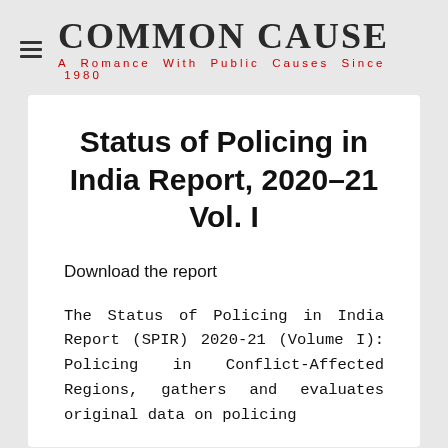COMMON CAUSE
A Romance With Public Causes Since 1980
Status of Policing in India Report, 2020–21 Vol. I
Download the report
The Status of Policing in India Report (SPIR) 2020-21 (Volume I): Policing in Conflict-Affected Regions, gathers and evaluates original data on policing